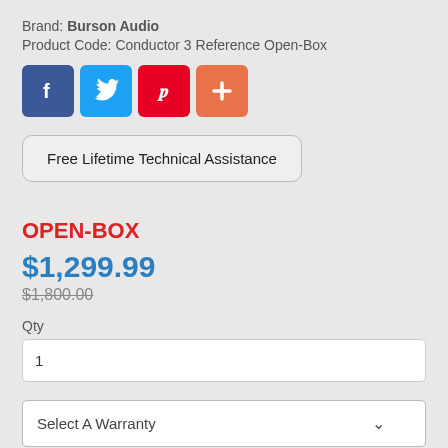Brand: Burson Audio
Product Code: Conductor 3 Reference Open-Box
[Figure (other): Row of four social share buttons: Facebook (blue), Twitter (light blue), Pinterest (red), and a plus/share button (orange-red)]
Free Lifetime Technical Assistance
OPEN-BOX
$1,299.99
$1,800.00
Qty
1
Select A Warranty
(Extended Warranty Details)